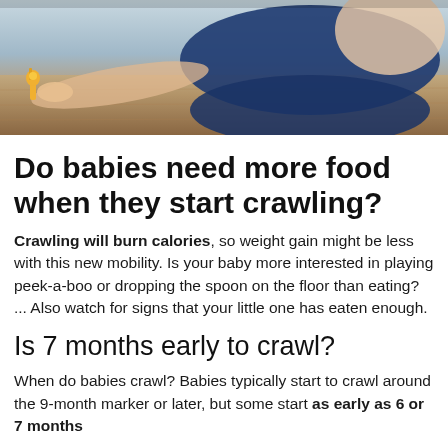[Figure (photo): A baby in a blue outfit crawling on a hardwood floor, reaching toward a small toy giraffe]
Do babies need more food when they start crawling?
Crawling will burn calories, so weight gain might be less with this new mobility. Is your baby more interested in playing peek-a-boo or dropping the spoon on the floor than eating? ... Also watch for signs that your little one has eaten enough.
Is 7 months early to crawl?
When do babies crawl? Babies typically start to crawl around the 9-month marker or later, but some start as early as 6 or 7 months